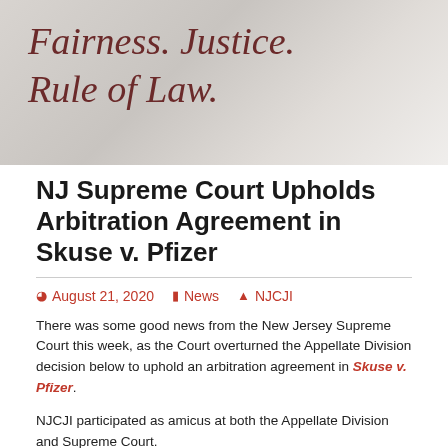[Figure (photo): Header banner with italic text reading 'Fairness. Justice. Rule of Law.' in dark red on a grey background]
NJ Supreme Court Upholds Arbitration Agreement in Skuse v. Pfizer
August 21, 2020  News  NJCJI
There was some good news from the New Jersey Supreme Court this week, as the Court overturned the Appellate Division decision below to uphold an arbitration agreement in Skuse v. Pfizer.
NJCJI participated as amicus at both the Appellate Division and Supreme Court.
Our participation at the Appellate Division was prompted by the surprise decision to even hear arguments that the trial court had